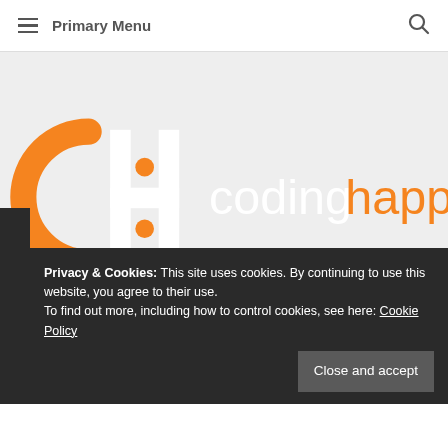Primary Menu
[Figure (logo): Coding Happiness logo: orange arc and H-bar icon with text 'coding happiness' in orange and white on grey background]
Privacy & Cookies: This site uses cookies. By continuing to use this website, you agree to their use.
To find out more, including how to control cookies, see here: Cookie Policy
Close and accept